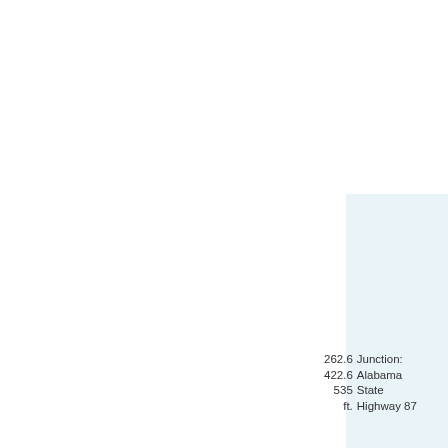| Distance | Description |
| --- | --- |
| 262.6 | Junction: |
| 422.6 | Alabama |
| 535 | State |
| ft. | Highway 87 |